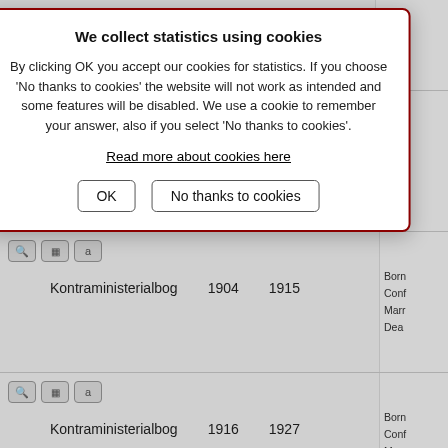[Figure (screenshot): Cookie consent modal dialog with title 'We collect statistics using cookies', body text, a link 'Read more about cookies here', and two buttons: OK and No thanks to cookies.]
|  | Name | From | To | Contains |
| --- | --- | --- | --- | --- |
| icons | Kontraministerialbog | 1892 | 1904 | Born
Conf
Marr
Dead |
| icons | Kontraministerialbog | 1904 | 1915 | Born
Conf
Marr
Dead |
| icons | Kontraministerialbog | 1916 | 1927 | Born
Conf
Marr
Dead |